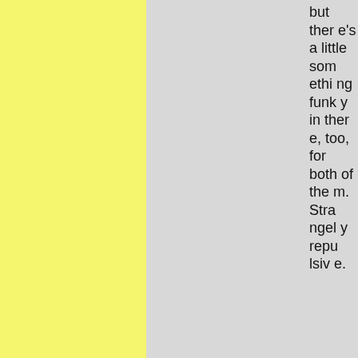but there's a little something funky in there, too, for both of them. Strangely repulsive.